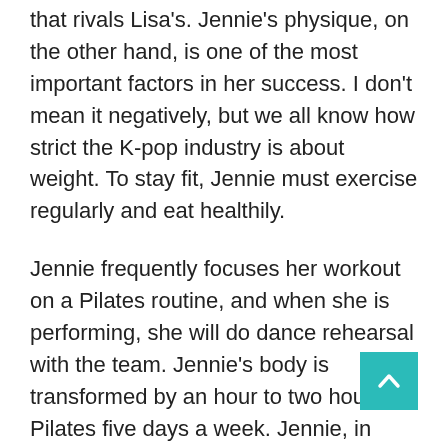that rivals Lisa's. Jennie's physique, on the other hand, is one of the most important factors in her success. I don't mean it negatively, but we all know how strict the K-pop industry is about weight. To stay fit, Jennie must exercise regularly and eat healthily.
Jennie frequently focuses her workout on a Pilates routine, and when she is performing, she will do dance rehearsal with the team. Jennie's body is transformed by an hour to two hours of Pilates five days a week. Jennie, in addition to Pilates, enjoys yoga. Pilates, on the other hand, will be her preferred workout. Both of these workouts help her stay lean, burn calories, and tone up. Yoga, particular, benefits both mental and